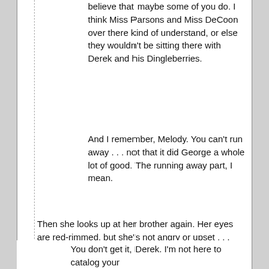believe that maybe some of you do. I think Miss Parsons and Miss DeCoon over there kind of understand, or else they wouldn't be sitting there with Derek and his Dingleberries.
And I remember, Melody. You can't run away . . . not that it did George a whole lot of good. The running away part, I mean.
Then she looks up at her brother again. Her eyes are red-rimmed, but she's not angry or upset . . . more like resigned, I'd say.
You don't get it, Derek. I'm not here to catalog your